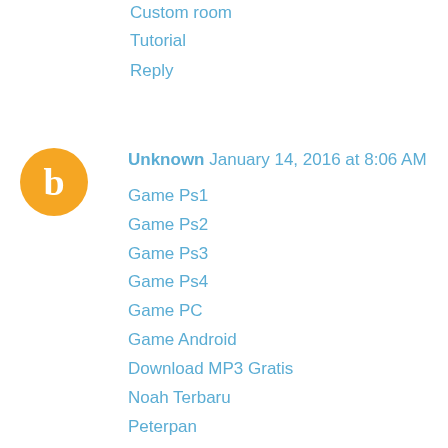Custom room
Tutorial
Reply
Unknown  January 14, 2016 at 8:06 AM
Game Ps1
Game Ps2
Game Ps3
Game Ps4
Game PC
Game Android
Download MP3 Gratis
Noah Terbaru
Peterpan
Lagu Barat
Lagu Reggae
Lagu Dj
Software Terbaru
Film Drama Korea
Film semi
Film Terbaru 2016